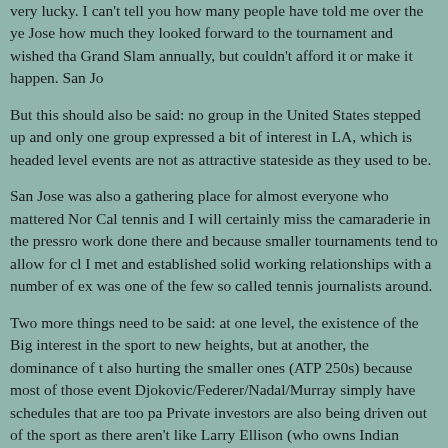very lucky. I can't tell you how many people have told me over the years in San Jose how much they looked forward to the tournament and wished that it was a Grand Slam annually, but couldn't afford it or make it happen. San Jo...
But this should also be said: no group in the United States stepped up to bid and only one group expressed a bit of interest in LA, which is headed... level events are not as attractive stateside as they used to be.
San Jose was also a gathering place for almost everyone who mattered in Nor Cal tennis and I will certainly miss the camaraderie in the pressro... work done there and because smaller tournaments tend to allow for cl... I met and established solid working relationships with a number of ex... was one of the few so called tennis journalists around.
Two more things need to be said: at one level, the existence of the Big... interest in the sport to new heights, but at another, the dominance of th... also hurting the smaller ones (ATP 250s) because most of those event... Djokovic/Federer/Nadal/Murray simply have schedules that are too pa... Private investors are also being driven out of the sport as there aren't... like Larry Ellison (who owns Indian Wells) who want to back tourna... are now being scooped up by governments looking to boost their tour... case of Rio to showcase their city before the Olympics. Just try and co... Jose to shell out $2 million or so for a tennis tournament when most C... public financing of sporting events.
Because the Grand Slams have become so important, there is also a cu...